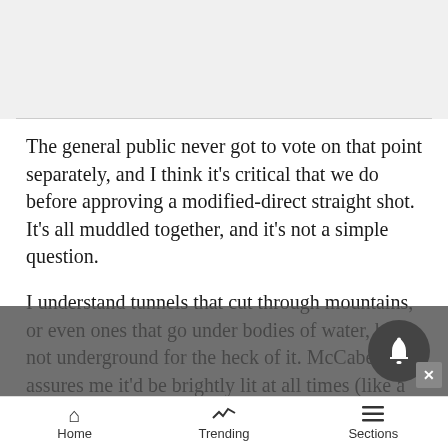The general public never got to vote on that point separately, and I think it's critical that we do before approving a modified-direct straight shot. It's all muddled together, and it's not a simple question.
I understand tunnels that cut through mountains, or even ones that go under bodies of water, but not underground for the heck of it. McCabe assures me it'd be brightly lit at all times (like a 7-Eleven, or laundromat ? think of the constant electric bill we'd be
Home   Trending   Sections